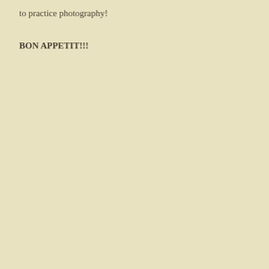to practice photography!
BON APPETIT!!!